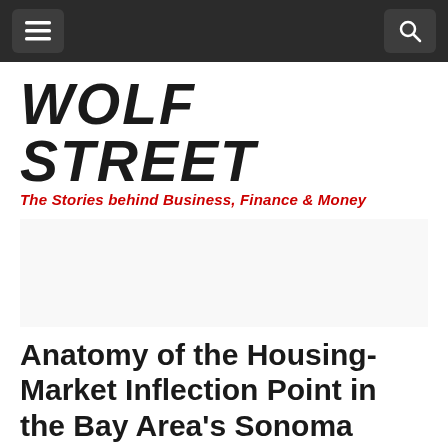WOLF STREET — The Stories behind Business, Finance & Money
[Figure (other): Advertisement placeholder (white/light gray box)]
Anatomy of the Housing-Market Inflection Point in the Bay Area's Sonoma County: Insider View
by Wolf Richter • Aug 13, 2018 • 87 Comments